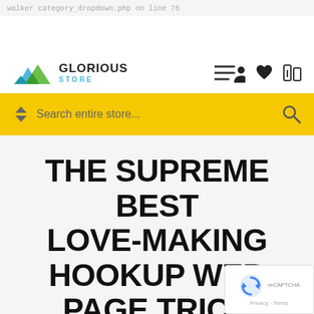walker `category_dropdown.php` on line 76
[Figure (logo): Glorious Store logo with mountain/peaks icon in green and blue, text GLORIOUS STORE]
[Figure (infographic): Navigation icons: hamburger menu, user icon, heart icon, compare icon]
Search entire store...
THE SUPREME BEST LOVE-MAKING HOOKUP WEB PAGE TRICK
[Figure (other): Google reCAPTCHA badge with spinning arrows logo, Privacy - Terms text]